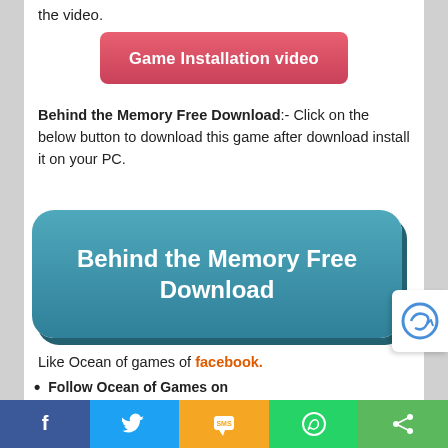the video.
[Figure (other): Red button labeled 'Game Installation video']
Behind the Memory Free Download:- Click on the below button to download this game after download install it on your PC.
[Figure (other): Teal/blue button labeled 'Behind the Memory Free Download']
Like Ocean of games of facebook.
Follow Ocean of Games on
If You Have Any Queries Related To This Game or Any Other Issue Then Feel Free To Comment on Any Post of Our Website
[Figure (infographic): Social sharing bar with Facebook, Twitter, SMS, WhatsApp, and Share buttons]